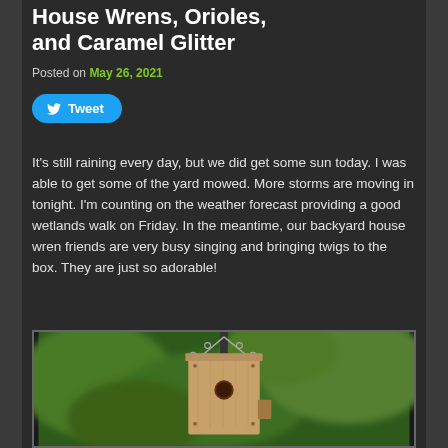House Wrens, Orioles, and Caramel Glitter
Posted on May 26, 2021
[Figure (other): Tweet button with Twitter bird icon]
It's still raining every day, but we did get some sun today. I was able to get some of the yard mowed. More storms are moving in tonight. I'm counting on the weather forecast providing a good wetlands walk on Friday. In the meantime, our backyard house wren friends are very busy singing and bringing twigs to the box. They are just so adorable!
[Figure (photo): Photograph of a wooden birdhouse hanging by chains against a green blurred background]